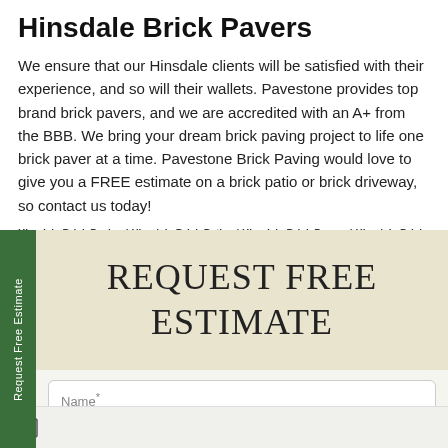Hinsdale Brick Pavers
We ensure that our Hinsdale clients will be satisfied with their experience, and so will their wallets. Pavestone provides top brand brick pavers, and we are accredited with an A+ from the BBB. We bring your dream brick paving project to life one brick paver at a time. Pavestone Brick Paving would love to give you a FREE estimate on a brick patio or brick driveway, so contact us today!
Hinsdale Brick Paving | Hinsdale Brick Patios | Hinsdale Brick Pavers | Hinsdale Brick Paver | Hinsdale Brick Driveways
[Figure (other): Green vertical sidebar tab with rotated text 'Request Free Estimate', next to a beige banner section with serif text 'REQUEST FREE ESTIMATE' and a Name* input field below, with an envelope icon at the bottom.]